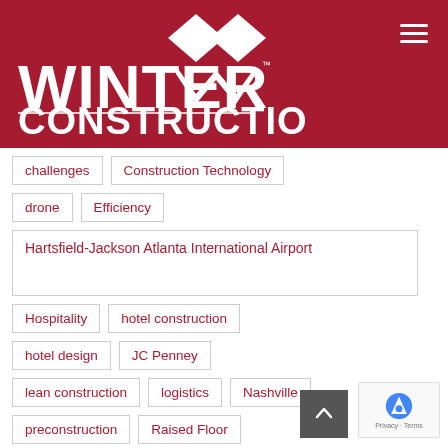[Figure (logo): Winter Construction logo — white text and diamond/W symbol on dark red background]
challenges
Construction Technology
drone
Efficiency
Hartsfield-Jackson Atlanta International Airport
Hospitality
hotel construction
hotel design
JC Penney
lean construction
logistics
Nashville
preconstruction
Raised Floor
renovation
skylight